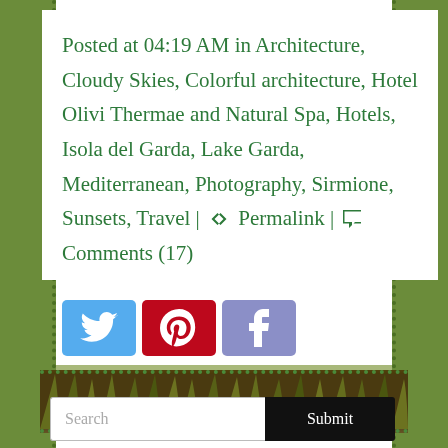Posted at 04:19 AM in Architecture, Cloudy Skies, Colorful architecture, Hotel Olivi Thermae and Natural Spa, Hotels, Isola del Garda, Lake Garda, Mediterranean, Photography, Sirmione, Sunsets, Travel | 🔗 Permalink | 💬 Comments (17)
[Figure (other): Three social share buttons: Twitter (blue), Pinterest (red), Facebook (purple)]
[Figure (photo): Natural plant/grass divider image strip]
[Figure (other): Search input field with Submit button]